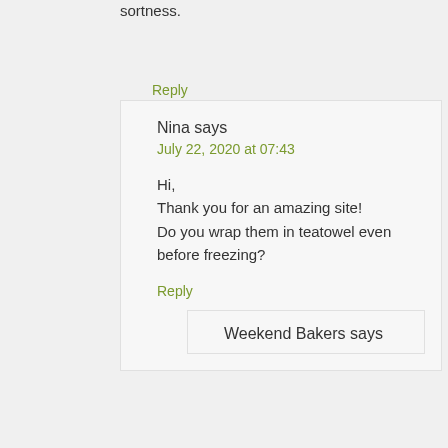sortness.
Reply
Nina says
July 22, 2020 at 07:43
Hi,
Thank you for an amazing site!
Do you wrap them in teatowel even before freezing?
Reply
Weekend Bakers says